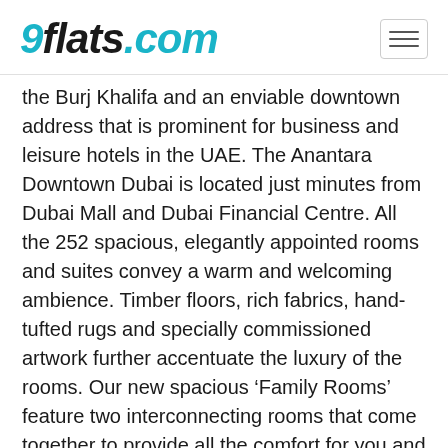9flats.com
the Burj Khalifa and an enviable downtown address that is prominent for business and leisure hotels in the UAE. The Anantara Downtown Dubai is located just minutes from Dubai Mall and Dubai Financial Centre. All the 252 spacious, elegantly appointed rooms and suites convey a warm and welcoming ambience. Timber floors, rich fabrics, hand-tufted rugs and specially commissioned artwork further accentuate the luxury of the rooms. Our new spacious ‘Family Rooms’ feature two interconnecting rooms that come together to provide all the comfort for you and your family. Featuring furnishings and contemporary artwork, the accommodations at Anantara Downtown Dubai come with a balcony or floor-to-ceiling windows. Each room includes a flat-screen satellite TV, a minibar, tea/coffee making facilities, bathtub and a separate shower, as